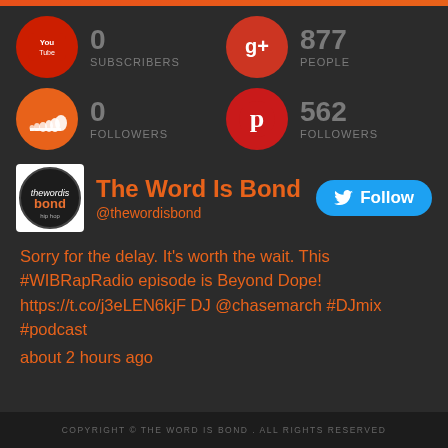[Figure (screenshot): Social media stats widget showing YouTube (0 subscribers), Google+ (877 people), SoundCloud (0 followers), Pinterest (562 followers), Twitter card for The Word Is Bond (@thewordisbond) with Follow button and a tweet]
0 SUBSCRIBERS
877 PEOPLE
0 FOLLOWERS
562 FOLLOWERS
The Word Is Bond
@thewordisbond
Sorry for the delay. It's worth the wait. This #WIBRapRadio episode is Beyond Dope! https://t.co/j3eLEN6kjF DJ @chasemarch #DJmix #podcast
about 2 hours ago
COPYRIGHT © THE WORD IS BOND . ALL RIGHTS RESERVED